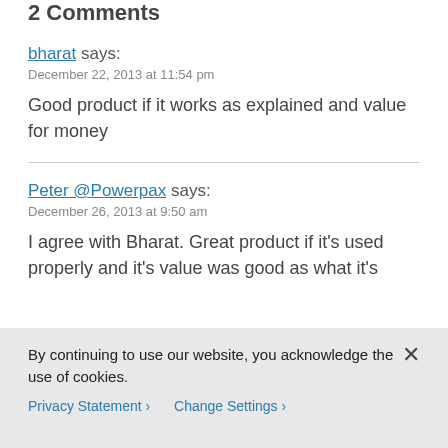2 Comments
bharat says:
December 22, 2013 at 11:54 pm
Good product if it works as explained and value for money
Peter @Powerpax says:
December 26, 2013 at 9:50 am
I agree with Bharat. Great product if it's used properly and it's value was good as what it's
By continuing to use our website, you acknowledge the use of cookies.
Privacy Statement > Change Settings >